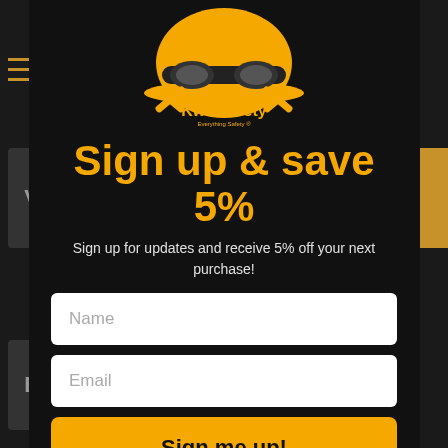[Figure (logo): KwikSafety logo — yellow hard hat with goggles and crossbones, text 'KwikSafety Everything Safety']
Sign up & save 5%
Sign up for updates and receive 5% off your next purchase!
Name
Email
Sign me up!